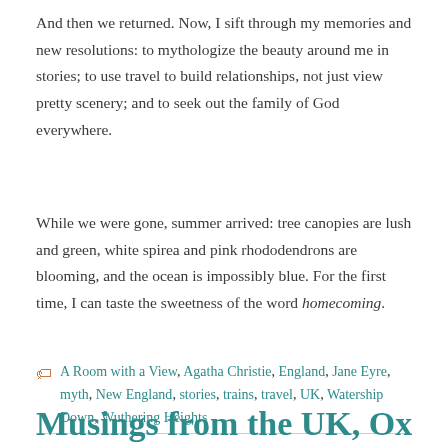And then we returned. Now, I sift through my memories and new resolutions: to mythologize the beauty around me in stories; to use travel to build relationships, not just view pretty scenery; and to seek out the family of God everywhere.
While we were gone, summer arrived: tree canopies are lush and green, white spirea and pink rhododendrons are blooming, and the ocean is impossibly blue. For the first time, I can taste the sweetness of the word homecoming.
A Room with a View, Agatha Christie, England, Jane Eyre, myth, New England, stories, trains, travel, UK, Watership Down, Wuthering Heights
Musings from the UK, Oxford